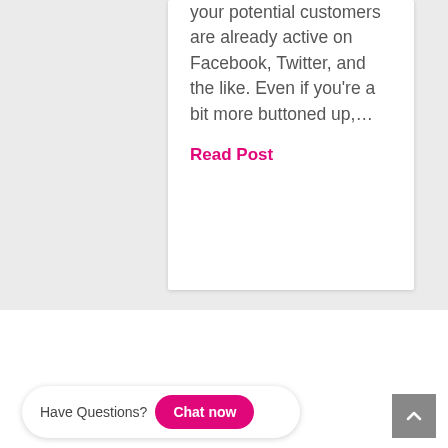your potential customers are already active on Facebook, Twitter, and the like. Even if you're a bit more buttoned up,…
Read Post
Have Questions?
Chat now